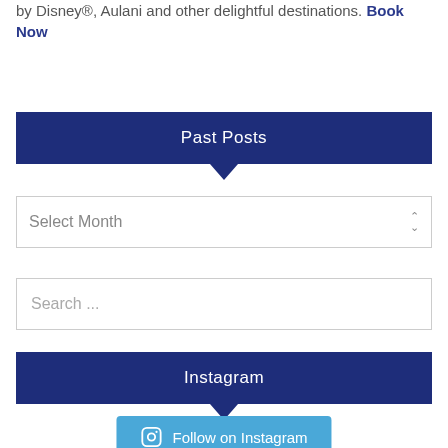by Disney®, Aulani and other delightful destinations. Book Now
Past Posts
[Figure (screenshot): Select Month dropdown widget]
[Figure (screenshot): Search input field with placeholder 'Search ...']
Instagram
[Figure (screenshot): Follow on Instagram button with Instagram icon]